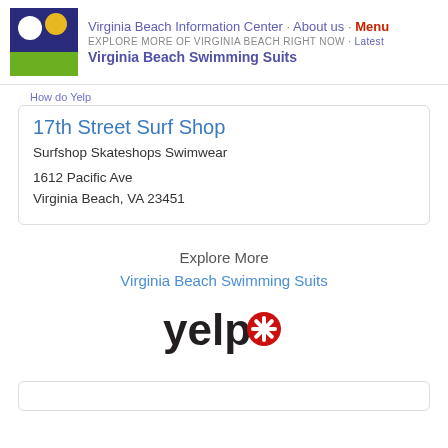Virginia Beach Information Center · About us · Menu
EXPLORE MORE OF VIRGINIA BEACH RIGHT NOW · Latest
Virginia Beach Swimming Suits
How do Yelp
17th Street Surf Shop
Surfshop Skateshops Swimwear
1612 Pacific Ave
Virginia Beach, VA 23451
Explore More
Virginia Beach Swimming Suits
[Figure (logo): Yelp logo with black 'yelp' text and red asterisk/burst icon]